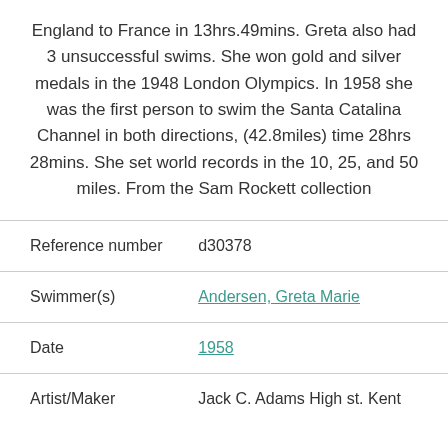England to France in 13hrs.49mins. Greta also had 3 unsuccessful swims. She won gold and silver medals in the 1948 London Olympics. In 1958 she was the first person to swim the Santa Catalina Channel in both directions, (42.8miles) time 28hrs 28mins. She set world records in the 10, 25, and 50 miles. From the Sam Rockett collection
| Field | Value |
| --- | --- |
| Reference number | d30378 |
| Swimmer(s) | Andersen, Greta Marie |
| Date | 1958 |
| Artist/Maker | Jack C. Adams High st. Kent |